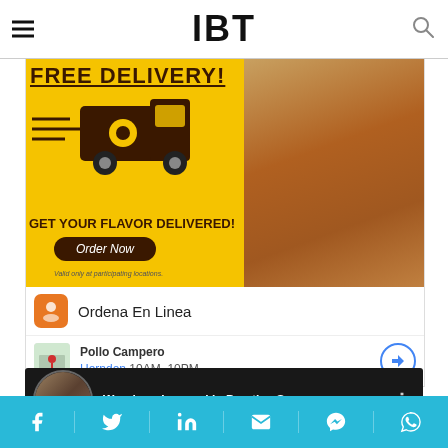IBT
[Figure (photo): Pollo Campero advertisement banner showing free delivery promotion with a delivery truck graphic and fried chicken image. Yellow background with text: FREE DELIVERY! GET YOUR FLAVOR DELIVERED! Order Now. Valid only at participating locations. Below: Ordena En Linea, Pollo Campero, Herndon 10AM-10PM]
[Figure (screenshot): YouTube video player thumbnail showing 'Warning - Leopard in Prestige Song ...' with a circular profile image and nighttime video frame]
Social sharing bar with Facebook, Twitter, LinkedIn, Email, Messenger, WhatsApp icons